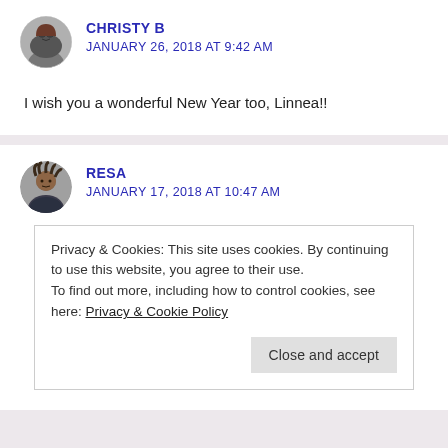[Figure (photo): Circular avatar of Christy B, a woman with glasses and brown hair]
CHRISTY B
JANUARY 26, 2018 AT 9:42 AM
I wish you a wonderful New Year too, Linnea!!
[Figure (photo): Circular avatar of Resa, a person with dreadlocks]
RESA
JANUARY 17, 2018 AT 10:47 AM
Privacy & Cookies: This site uses cookies. By continuing to use this website, you agree to their use.
To find out more, including how to control cookies, see here: Privacy & Cookie Policy